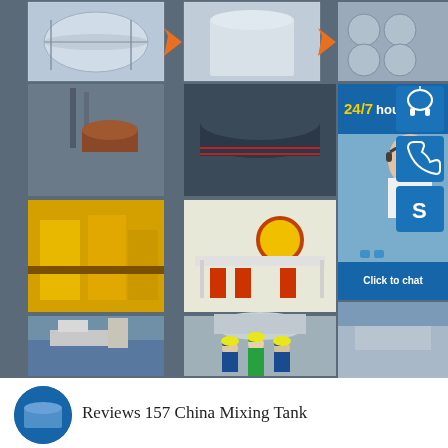[Figure (photo): Collage of industrial storage tanks, oil/gas facilities, Shell gas station, workers in hard hats, and a customer service representative. Includes a 24/7 hour service panel with headset, phone, and Skype icons, and a 'Click to chat' button. Three rows of tank/facility photos with orange arrows between first row images.]
24/7 hour
Click to chat
Reviews 157 China Mixing Tank